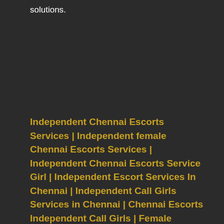solutions.
Independent Chennai Escorts Services | Independent female Chennai Escorts Services | Independent Chennai Escorts Service Girl | Independent Escort Services In Chennai | Independent Call Girls Services in Chennai | Chennai Escorts Independent Call Girls | Female Chennai Escorts Independent